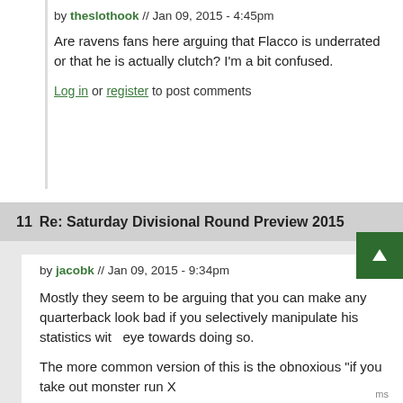by theslothook // Jan 09, 2015 - 4:45pm
Are ravens fans here arguing that Flacco is underrated or that he is actually clutch? I'm a bit confused.
Log in or register to post comments
11  Re: Saturday Divisional Round Preview 2015
by jacobk // Jan 09, 2015 - 9:34pm
Mostly they seem to be arguing that you can make any quarterback look bad if you selectively manipulate his statistics with eye towards doing so.
The more common version of this is the obnoxious "if you take out monster run X